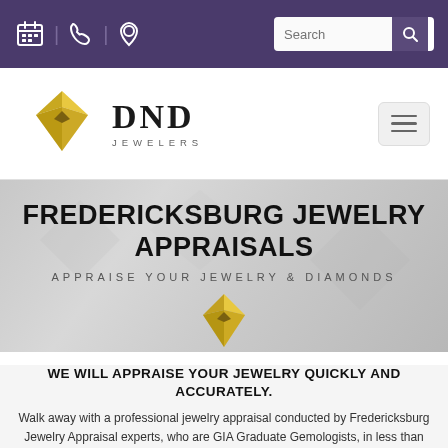[Figure (screenshot): Top navigation bar with purple background showing calendar, phone, location icons and search box]
[Figure (logo): DND Jewelers logo with gold diamond gem and serif text]
FREDERICKSBURG JEWELRY APPRAISALS
APPRAISE YOUR JEWELRY & DIAMONDS
[Figure (logo): Gold diamond gem icon]
WE WILL APPRAISE YOUR JEWELRY QUICKLY AND ACCURATELY.
Walk away with a professional jewelry appraisal conducted by Fredericksburg Jewelry Appraisal experts, who are GIA Graduate Gemologists, in less than an hour. A DND Jewelry appraisal combines extensive education and industry experience to provide a detailed and